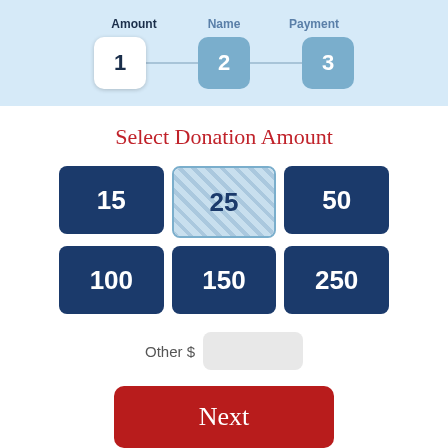[Figure (screenshot): Wizard step indicator with steps labeled Amount (1, active/white), Name (2, blue), Payment (3, blue) connected by a horizontal line on a light blue background.]
Select Donation Amount
[Figure (infographic): A 2x3 grid of donation amount buttons: 15, 25 (selected/hatched), 50, 100, 150, 250. All dark navy blue except 25 which has a diagonal stripe pattern indicating selection.]
Other $
[Figure (screenshot): A Next button in red/crimson color with white serif text.]